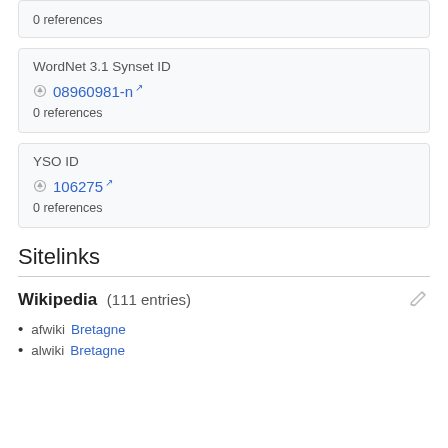0 references
WordNet 3.1 Synset ID
08960981-n
0 references
YSO ID
106275
0 references
Sitelinks
Wikipedia  (111 entries)
afwiki Bretagne
alwiki Bretagne